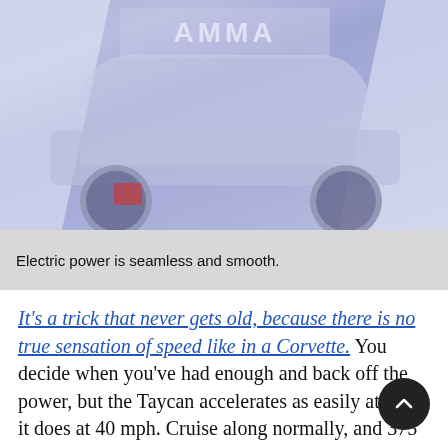[Figure (photo): A car (likely Porsche Taycan) on a stage with blue-purple ambient lighting and white drape fabric on the sides, with a logo visible at top center. A red brake light is visible on the left side.]
Electric power is seamless and smooth.
It's a trick that never gets old, because there is no true sensation of speed like in a Corvette. You decide when you've had enough and back off the power, but the Taycan accelerates as easily at 100 it does at 40 mph. Cruise along normally, and 375